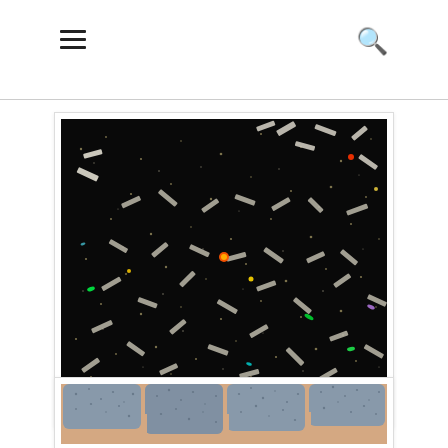[Figure (other): Menu hamburger icon in page header]
[Figure (other): Search magnifying glass icon in page header]
[Figure (photo): Macro close-up photo of Wicked Polish Black Friday nail polish in sunlight, showing black base with scattered silver/holographic glitter bar pieces and multicolor sparkling glitter particles.]
Wicked Polish Black Friday, macro, Sunlight
[Figure (photo): Photo of fingernails painted with gray/black glittery nail polish, showing multiple fingers side by side.]